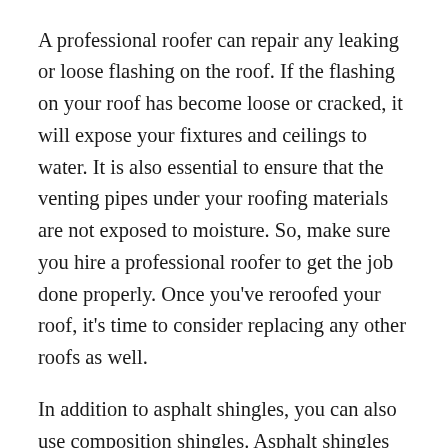A professional roofer can repair any leaking or loose flashing on the roof. If the flashing on your roof has become loose or cracked, it will expose your fixtures and ceilings to water. It is also essential to ensure that the venting pipes under your roofing materials are not exposed to moisture. So, make sure you hire a professional roofer to get the job done properly. Once you've reroofed your roof, it's time to consider replacing any other roofs as well.
In addition to asphalt shingles, you can also use composition shingles. Asphalt shingles are made of asphalt, which is an organic bituminous compound. ASTM (American Society for Testing Materials) standards are widely used in building codes. Asphalt shingles are often installed with a blind nailing